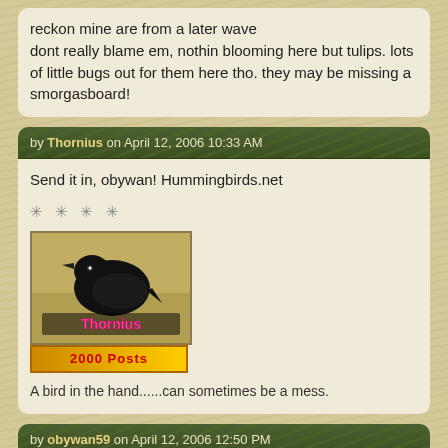reckon mine are from a later wave
dont really blame em, nothin blooming here but tulips. lots of little bugs out for them here tho. they may be missing a smorgasboard!
by Thornius on April 12, 2006 10:33 AM
Send it in, obywan! Hummingbirds.net
[Figure (photo): Avatar image of a black bird (crow/raven) with the username 'Thornius' overlaid in pink text, and a '2000 Posts' badge below in red text on a gold background]
A bird in the hand......can sometimes be a mess.
by obywan59 on April 12, 2006 12:50 PM
I sent in my report! I don't know if I'll get on the map, but I was really close this year, only a day or two behind some